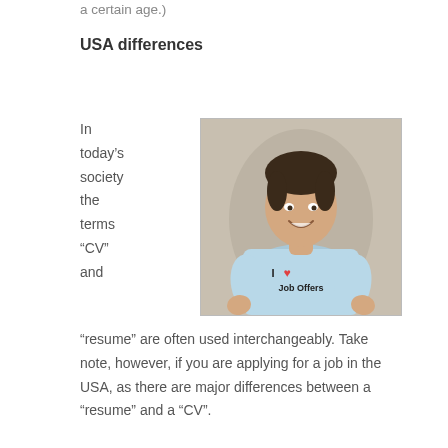a certain age.)
USA differences
In today’s society the terms “CV” and
[Figure (photo): Young man smiling, wearing a light blue t-shirt that reads 'I ♥ Job Offers']
“resume” are often used interchangeably. Take note, however, if you are applying for a job in the USA, as there are major differences between a “resume” and a “CV”.